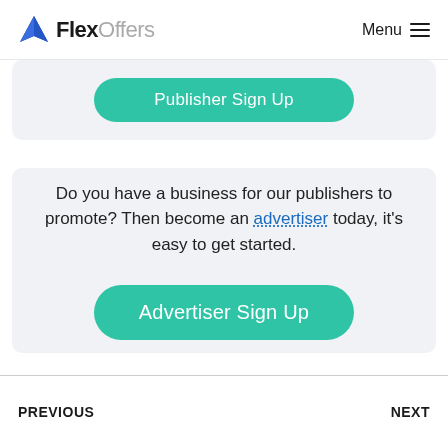FlexOffers  Menu
[Figure (screenshot): Partially visible Publisher Sign Up button on a light grey card]
Do you have a business for our publishers to promote? Then become an advertiser today, it's easy to get started.
[Figure (screenshot): Advertiser Sign Up button (teal/green rounded rectangle)]
PREVIOUS    NEXT